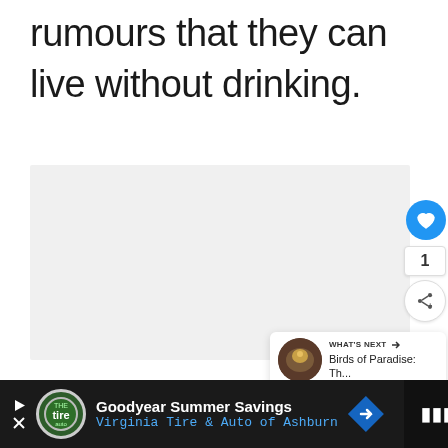rumours that they can live without drinking.
[Figure (other): Light gray image/video placeholder area]
1
WHAT'S NEXT → Birds of Paradise: Th...
Goodyear Summer Savings Virginia Tire & Auto of Ashburn